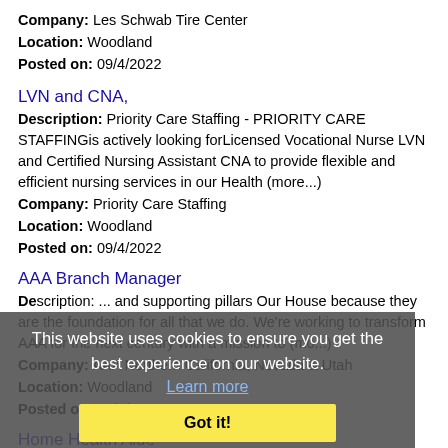Company: Les Schwab Tire Center
Location: Woodland
Posted on: 09/4/2022
LVN and CNA,
Description: Priority Care Staffing - PRIORITY CARE STAFFINGis actively looking forLicensed Vocational Nurse LVN and Certified Nursing Assistant CNA to provide flexible and efficient nursing services in our Health (more...)
Company: Priority Care Staffing
Location: Woodland
Posted on: 09/4/2022
AAA Branch Manager
Description: ... supporting pillars Our House because they are the foundation for all that we do. We're working to transform AAA for the next century with a mission to (more...)
Company: AAA Northern California, Nevada & Utah
Location: Woodland
Posted on: 09/4/2022
This website uses cookies to ensure you get the best experience on our website.
Learn more
Got it!
Home Health Aide
Description: Home Health Aide Woodland HealthcareWoodland